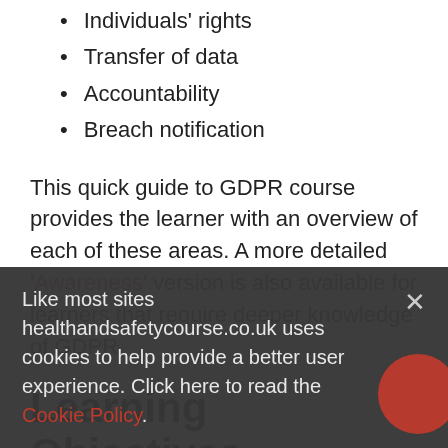Individuals' rights
Transfer of data
Accountability
Breach notification
This quick guide to GDPR course provides the learner with an overview of each of these areas. A more detailed 'Awareness' version is also available for learners that require deeper knowledge of GDPR.
Learning Objectives
By the end of this course you will be able
Like most sites healthandsafetycourse.co.uk uses cookies to help provide a better user experience. Click here to read the Cookie Policy.